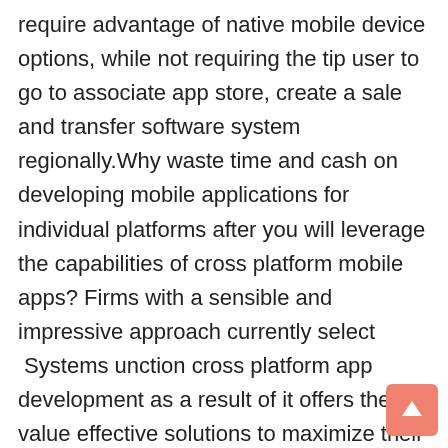require advantage of native mobile device options, while not requiring the tip user to go to associate app store, create a sale and transfer software system regionally.Why waste time and cash on developing mobile applications for individual platforms after you will leverage the capabilities of cross platform mobile apps? Firms with a sensible and impressive approach currently select  Systems unction cross platform app development as a result of it offers them value effective solutions to maximize their reach by giving their audience the simplest cross platform apps that employment on multiple platforms.The upsurge of operative